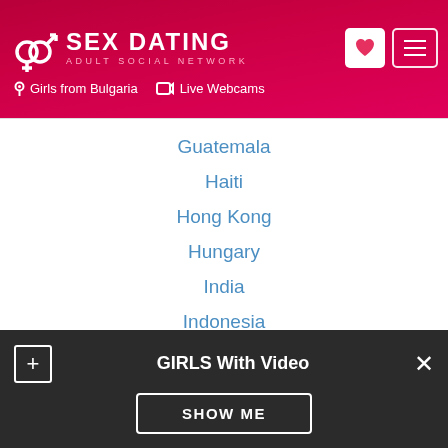SEX DATING ADULT SOCIAL NETWORK | Girls from Bulgaria | Live Webcams
Guatemala
Haiti
Hong Kong
Hungary
India
Indonesia
Iran
Ireland
Israel
Italy
Japan
Kazakhstan
GIRLS With Video — SHOW ME